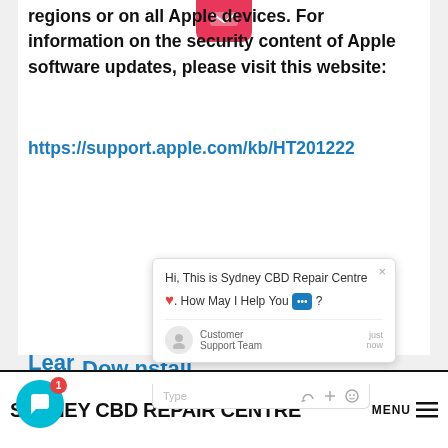[Figure (screenshot): Screenshot of a webpage showing text about Apple security updates with a hyperlink, overlaid with a live chat popup from Sydney CBD Repair Centre with a customer support agent greeting, chat widget button with notification badge, and partial visible text links. Bottom section shows website footer with Sydney CBD Repair Centre branding and MENU hamburger icon.]
SYDNEY CBD REPAIR CENTRE MENU ≡